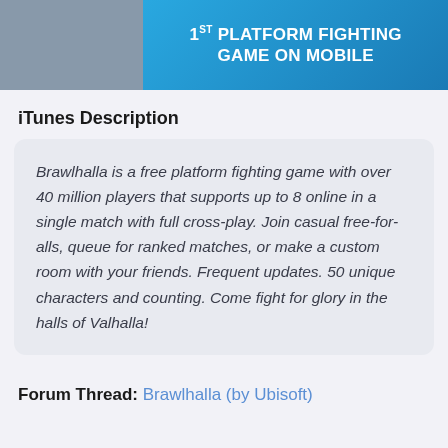[Figure (screenshot): Banner image for Brawlhalla mobile game showing a character on the left and text '1ST PLATFORM FIGHTING GAME ON MOBILE' on a blue background on the right]
iTunes Description
Brawlhalla is a free platform fighting game with over 40 million players that supports up to 8 online in a single match with full cross-play. Join casual free-for-alls, queue for ranked matches, or make a custom room with your friends. Frequent updates. 50 unique characters and counting. Come fight for glory in the halls of Valhalla!
Forum Thread: Brawlhalla (by Ubisoft)